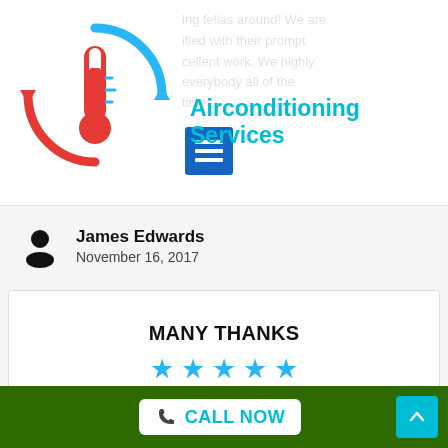[Figure (illustration): HVAC/air conditioning service logo with thermometer and circular arrows in red and blue]
Airconditioning Services
ing fellas around! We are ified with their prompt cellent work. We highly everybody all of the time!
James Edwards
November 16, 2017
MANY THANKS
★★★★★
Superior encounter with your technicians.
CALL NOW